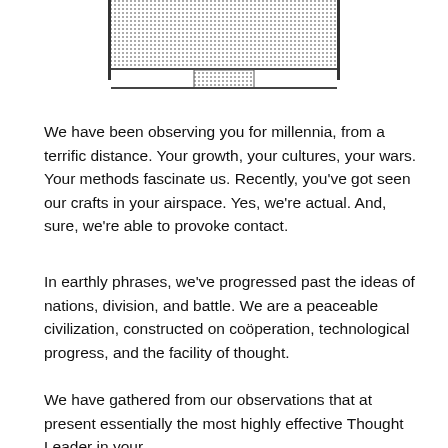[Figure (other): A pixelated/dotted rectangular graphic resembling a spaceship or UFO silhouette viewed from above, rendered in a stipple/halftone dot pattern against white background.]
We have been observing you for millennia, from a terrific distance. Your growth, your cultures, your wars. Your methods fascinate us. Recently, you've got seen our crafts in your airspace. Yes, we're actual. And, sure, we're able to provoke contact.
In earthly phrases, we've progressed past the ideas of nations, division, and battle. We are a peaceable civilization, constructed on coöperation, technological progress, and the facility of thought.
We have gathered from our observations that at present essentially the most highly effective Thought Leader in your